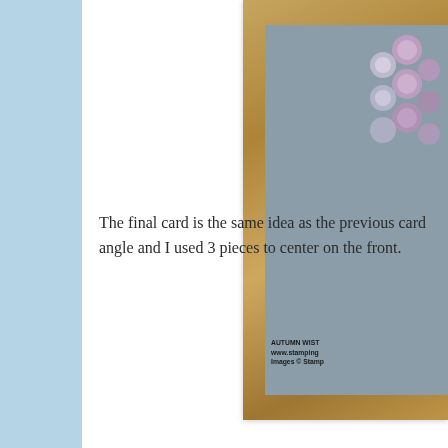[Figure (photo): Partial view of a handmade card on a wood-grain surface. The card has a gray-blue background with pink/purple floral bubble decorations in the upper right. Text at the bottom reads 'AUTUMN WIST', 'www.stamping...', 'Images © Stamp...' The image is cropped on the right side.]
The final card is the same idea as the previous card angle and I used 3 pieces to center on the front.
[Figure (photo): Partial view of a handmade card on a wood-grain surface. The card has a tan/cream background with teal floral/bubble decorations visible in the lower right corner. The image is cropped at the right and bottom edges.]